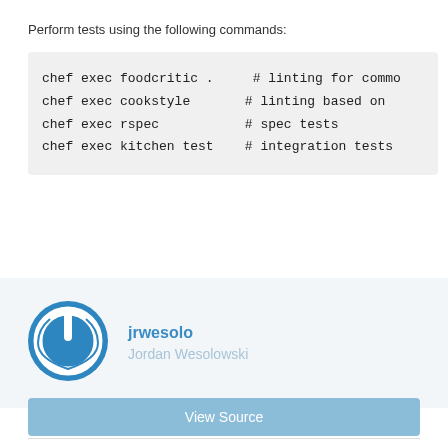Perform tests using the following commands:
chef exec foodcritic .     # linting for commo
chef exec cookstyle       # linting based on
chef exec rspec           # spec tests
chef exec kitchen test    # integration tests
[Figure (logo): Blue circular power button logo icon for jrwesolo]
jrwesolo
Jordan Wesolowski
DETAILS
View Source